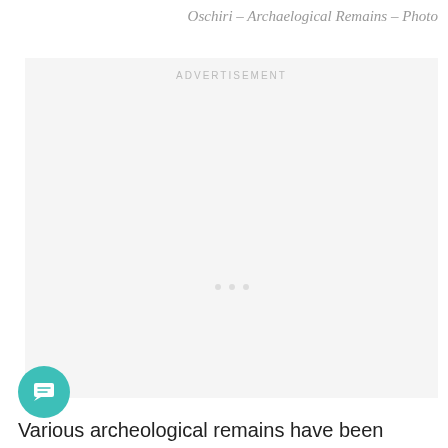Oschiri – Archaelogical Remains – Photo
[Figure (other): Advertisement placeholder box with light gray background and loading dots indicator]
[Figure (other): Teal circular chat/comment icon button]
Various archeological remains have been